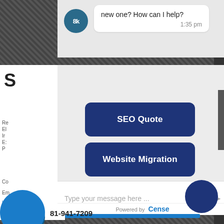[Figure (screenshot): Chat widget screenshot showing a conversation with options for SEO Quote and Website Migration, with a message input box and Powered by Cense branding]
new one? How can I help?
1:35 pm
SEO Quote
Website Migration
Type your message here ...
Powered by Cense